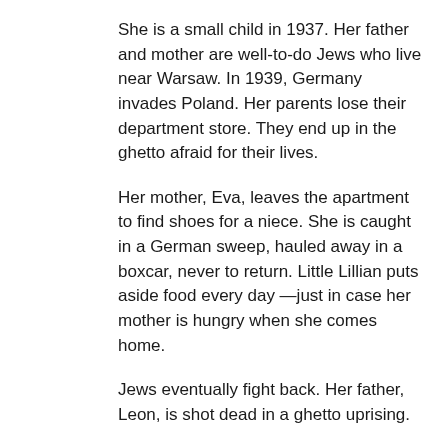She is a small child in 1937. Her father and mother are well-to-do Jews who live near Warsaw. In 1939, Germany invades Poland. Her parents lose their department store. They end up in the ghetto afraid for their lives.
Her mother, Eva, leaves the apartment to find shoes for a niece. She is caught in a German sweep, hauled away in a boxcar, never to return. Little Lillian puts aside food every day —just in case her mother is hungry when she comes home.
Jews eventually fight back. Her father, Leon, is shot dead in a ghetto uprising.
Lillian ends up in Israel, where she lives in a series of orphanages, then in a kibbutz where she studies nursing. She has low self-esteem and worries about everything. Boys think she is beautiful.